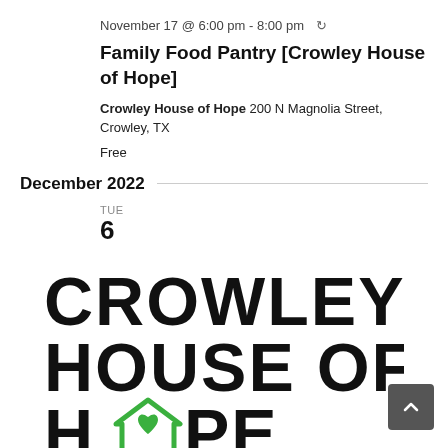November 17 @ 6:00 pm - 8:00 pm ↺
Family Food Pantry [Crowley House of Hope]
Crowley House of Hope 200 N Magnolia Street, Crowley, TX
Free
December 2022
TUE 6
[Figure (logo): Crowley House of Hope logo with large black text reading CROWLEY HOUSE OF HOPE where the O in HOPE is replaced by a green house icon with a heart inside]